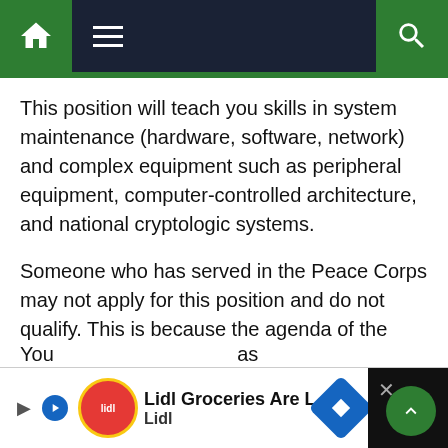Navigation bar with home, menu, and search icons
This position will teach you skills in system maintenance (hardware, software, network) and complex equipment such as peripheral equipment, computer-controlled architecture, and national cryptologic systems.
Someone who has served in the Peace Corps may not apply for this position and do not qualify. This is because the agenda of the military and the humanitarian mission of the Peace Corps should have balance.
This position requires you to score at least 112 on the skilled technical (ST) area of ASVAB tests.
[Figure (other): Advertisement banner for Lidl Groceries Are Low-Priced with Lidl logo and navigation arrow icon]
You ... as